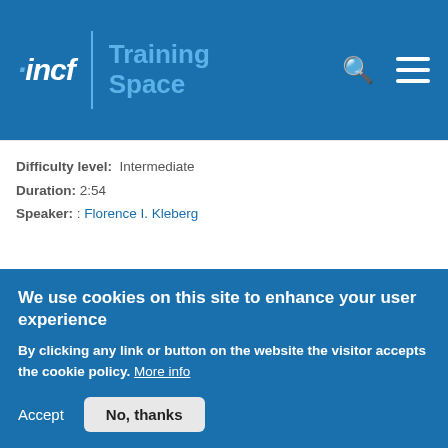incf | Training Space
Difficulty level: Intermediate
Duration: 2:54
Speaker: : Florence I. Kleberg
3.3 Correlations and STDP
Course:
Computational
[Figure (screenshot): Video thumbnail showing chalkboard text '3 Correlations and STDP']
We use cookies on this site to enhance your user experience
By clicking any link or button on the website the visitor accepts the cookie policy. More info
Accept   No, thanks